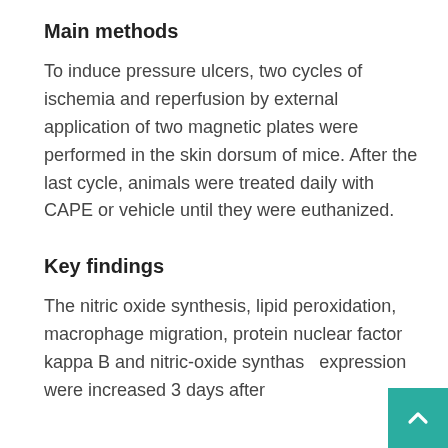Main methods
To induce pressure ulcers, two cycles of ischemia and reperfusion by external application of two magnetic plates were performed in the skin dorsum of mice. After the last cycle, animals were treated daily with CAPE or vehicle until they were euthanized.
Key findings
The nitric oxide synthesis, lipid peroxidation, macrophage migration, protein nuclear factor kappa B and nitric-oxide synthase expression were increased 3 days after